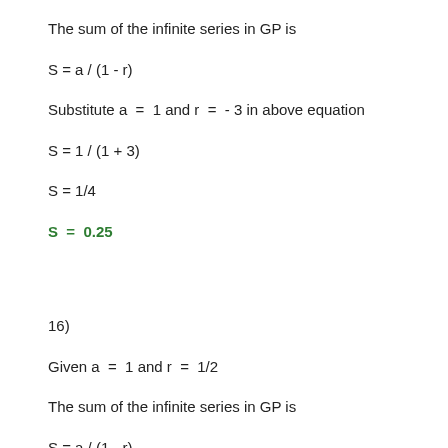The sum of the infinite series in GP is
Substitute a  =  1 and r  =  - 3 in above equation
16)
Given a  =  1 and r  =  1/2
The sum of the infinite series in GP is
Substitute a  =  1 and r  =  1/2 in above equation